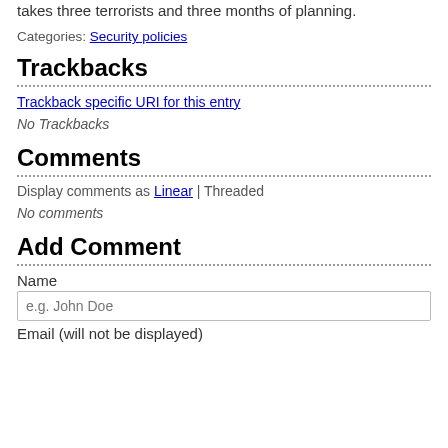takes three terrorists and three months of planning.
Categories: Security policies
Trackbacks
Trackback specific URI for this entry
No Trackbacks
Comments
Display comments as Linear | Threaded
No comments
Add Comment
Name
e.g. John Doe
Email (will not be displayed)